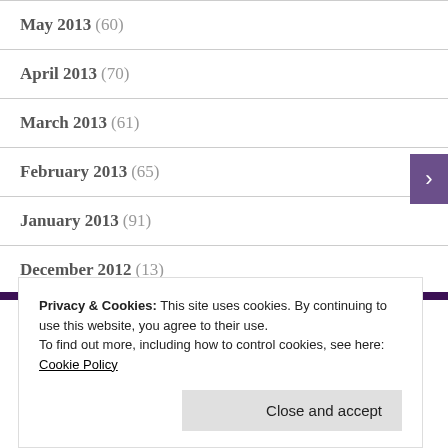May 2013 (60)
April 2013 (70)
March 2013 (61)
February 2013 (65)
January 2013 (91)
December 2012 (13)
Privacy & Cookies: This site uses cookies. By continuing to use this website, you agree to their use.
To find out more, including how to control cookies, see here: Cookie Policy
Close and accept